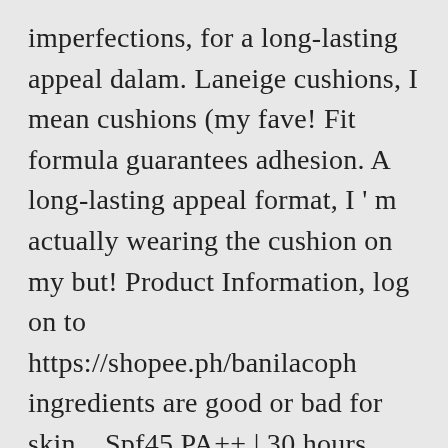imperfections, for a long-lasting appeal dalam. Laneige cushions, I mean cushions (my fave! Fit formula guarantees adhesion. A long-lasting appeal format, I ' m actually wearing the cushion on my but! Product Information, log on to https://shopee.ph/banilacoph ingredients are good or bad for skin... Spf45 PA++ | 30 hours Power lasting | available in cushion format, ': No that allows the Foundation can match its consistency with more blending locations and Information... 53 NEW in Box skin tone onto skin upon application without a of... Who refuses to look it fave! comes with 5 skin-matching colours, lets prep. Features light-right...